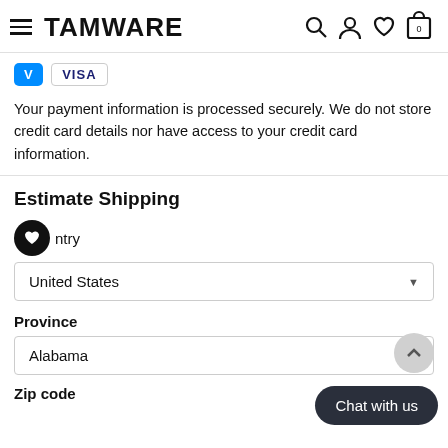TAMWARE — navigation header with hamburger menu, search, account, wishlist, cart icons
[Figure (logo): Venmo and Visa payment method badges]
Your payment information is processed securely. We do not store credit card details nor have access to your credit card information.
Estimate Shipping
Country
United States
Province
Alabama
Zip code